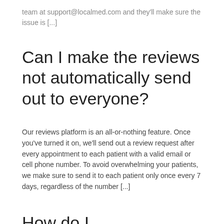team at support@localmed.com and they'll make sure the issue is [...]
Can I make the reviews not automatically send out to everyone?
Our reviews platform is an all-or-nothing feature. Once you've turned it on, we'll send out a review request after every appointment to each patient with a valid email or cell phone number. To avoid overwhelming your patients, we make sure to send it to each patient only once every 7 days, regardless of the number [...]
How do I...